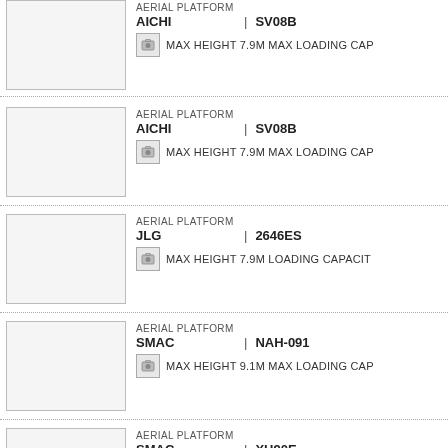AERIAL PLATFORM | AICHI | SV08B | MAX HEIGHT 7.9M MAX LOADING CAP...
AERIAL PLATFORM | AICHI | SV08B | MAX HEIGHT 7.9M MAX LOADING CAP...
AERIAL PLATFORM | JLG | 2646ES | MAX HEIGHT 7.9M LOADING CAPACIT...
AERIAL PLATFORM | SMAC | NAH-091 | MAX HEIGHT 9.1M MAX LOADING CAP...
AERIAL PLATFORM | SMAC | XH90E | MAX HEIGHT 9M MAX LOADING CAPA...